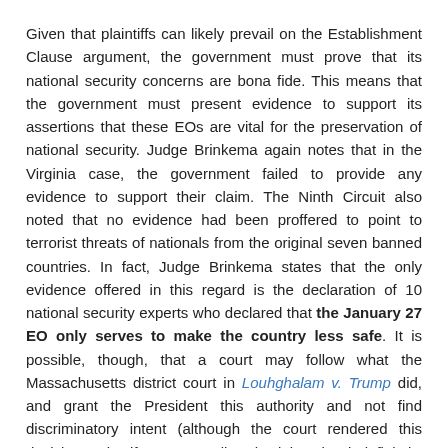Given that plaintiffs can likely prevail on the Establishment Clause argument, the government must prove that its national security concerns are bona fide. This means that the government must present evidence to support its assertions that these EOs are vital for the preservation of national security. Judge Brinkema again notes that in the Virginia case, the government failed to provide any evidence to support their claim. The Ninth Circuit also noted that no evidence had been proffered to point to terrorist threats of nationals from the original seven banned countries. In fact, Judge Brinkema states that the only evidence offered in this regard is the declaration of 10 national security experts who declared that the January 27 EO only serves to make the country less safe. It is possible, though, that a court may follow what the Massachusetts district court in Louhghalam v. Trump did, and grant the President this authority and not find discriminatory intent (although the court rendered this decision to justify not extending the injunction indefinitely, which it did initially, and did not analyze the discriminatory intent).
It is clear to us, and hopefully to a court that hears the new challenge,